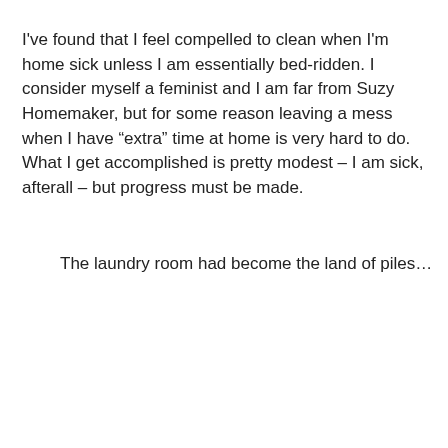I've found that I feel compelled to clean when I'm home sick unless I am essentially bed-ridden. I consider myself a feminist and I am far from Suzy Homemaker, but for some reason leaving a mess when I have “extra” time at home is very hard to do. What I get accomplished is pretty modest – I am sick, afterall – but progress must be made.
The laundry room had become the land of piles…